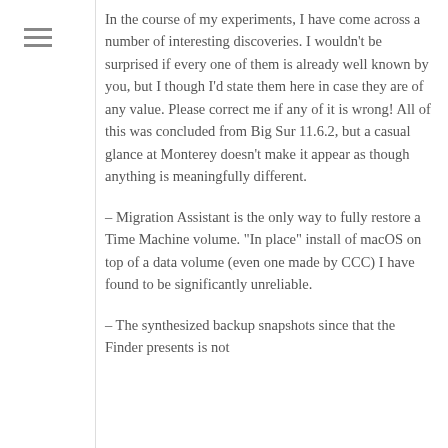In the course of my experiments, I have come across a number of interesting discoveries. I wouldn't be surprised if every one of them is already well known by you, but I though I'd state them here in case they are of any value. Please correct me if any of it is wrong! All of this was concluded from Big Sur 11.6.2, but a casual glance at Monterey doesn't make it appear as though anything is meaningfully different.
– Migration Assistant is the only way to fully restore a Time Machine volume. "In place" install of macOS on top of a data volume (even one made by CCC) I have found to be significantly unreliable.
– The synthesized backup snapshots since that the Finder presents is not